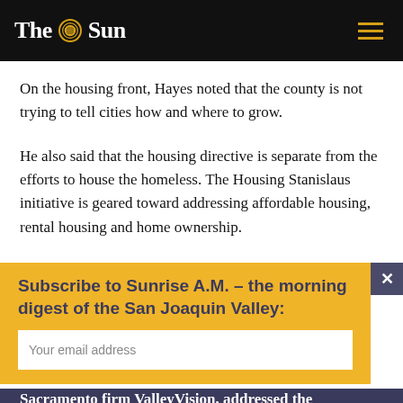The Sun
On the housing front, Hayes noted that the county is not trying to tell cities how and where to grow.
He also said that the housing directive is separate from the efforts to house the homeless. The Housing Stanislaus initiative is geared toward addressing affordable housing, rental housing and home ownership.
Subscribe to Sunrise A.M. – the morning digest of the San Joaquin Valley:
Your email address
Alan Lange, a managing director with
Sacramento firm ValleyVision, addressed the